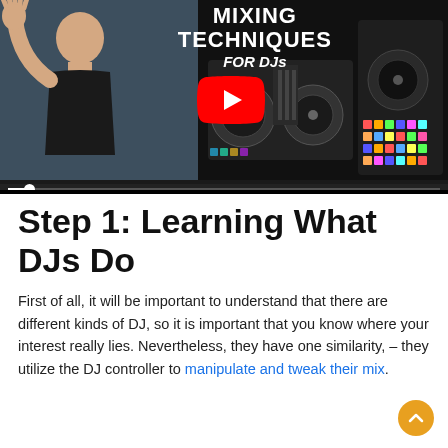[Figure (screenshot): YouTube video thumbnail showing a DJ mixing techniques tutorial. A person raises their hand in front of a chalkboard on the left. Text overlay reads 'MIXING TECHNIQUES FOR DJs'. DJ controller equipment is shown on the right side. A red YouTube play button is centered. A progress bar is at the bottom.]
Step 1: Learning What DJs Do
First of all, it will be important to understand that there are different kinds of DJ, so it is important that you know where your interest really lies. Nevertheless, they have one similarity, – they utilize the DJ controller to manipulate and tweak their mix.